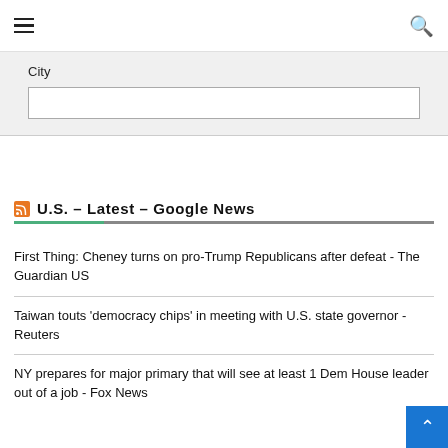≡  [search icon]
City
[Figure (screenshot): City input text field]
U.S. – Latest – Google News
First Thing: Cheney turns on pro-Trump Republicans after defeat - The Guardian US
Taiwan touts 'democracy chips' in meeting with U.S. state governor - Reuters
NY prepares for major primary that will see at least 1 Dem House leader out of a job - Fox News